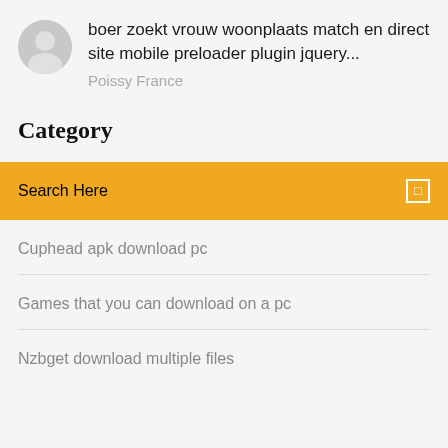boer zoekt vrouw woonplaats match en direct site mobile preloader plugin jquery...
Poissy France
Category
Search Here
Cuphead apk download pc
Games that you can download on a pc
Nzbget download multiple files